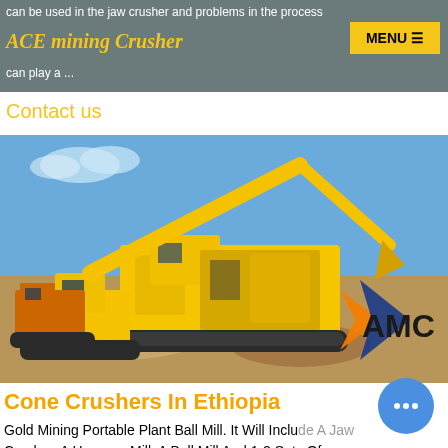can be used in the jaw crusher and problems in the process can play a ...
ACE mining Crusher
Contact us
[Figure (photo): Yellow mining excavator and mobile cone crusher machine on a construction/mining site with AMC logo overlay]
Cone Crushers In Ethiopia
Gold Mining Portable Plant Ball Mill. It Will Include A Jaw Crusher, A Hammer Mill, A Ball Mill And 1-2 Sets Of